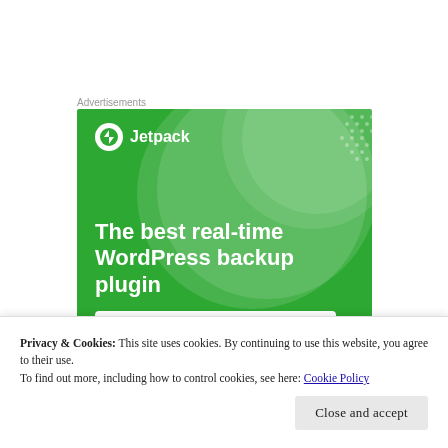Advertisements
[Figure (illustration): Jetpack WordPress plugin advertisement banner with green background, Jetpack logo at top left, bold white headline text reading 'The best real-time WordPress backup plugin', decorative translucent circles, dot pattern in upper right, and a white 'Back up your site' button at the bottom.]
Privacy & Cookies: This site uses cookies. By continuing to use this website, you agree to their use.
To find out more, including how to control cookies, see here: Cookie Policy
Close and accept